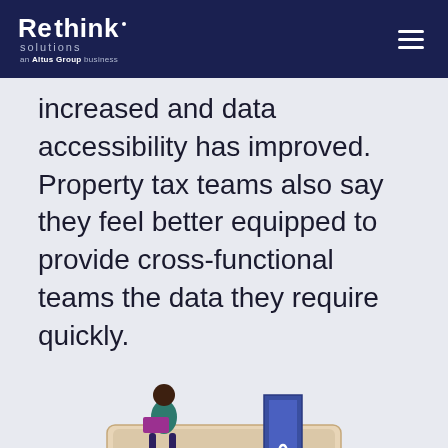Rethink solutions — an Altus Group business
increased and data accessibility has improved. Property tax teams also say they feel better equipped to provide cross-functional teams the data they require quickly.
[Figure (illustration): Illustration of a laptop screen with a security shield and padlock icon, a person sitting on top of the laptop using a laptop, and a person sitting at the bottom right of the laptop.]